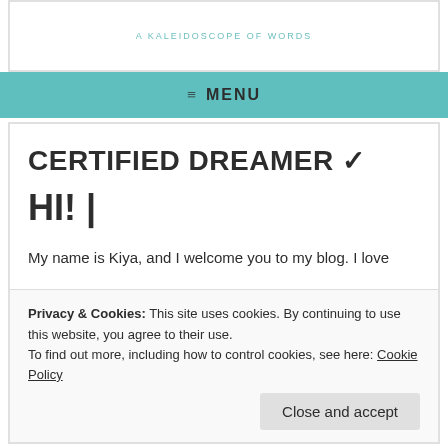A KALEIDOSCOPE OF WORDS
≡  MENU
CERTIFIED DREAMER ✓
HI! |
My name is Kiya, and I welcome you to my blog. I love
Privacy & Cookies: This site uses cookies. By continuing to use this website, you agree to their use.
To find out more, including how to control cookies, see here: Cookie Policy
Close and accept